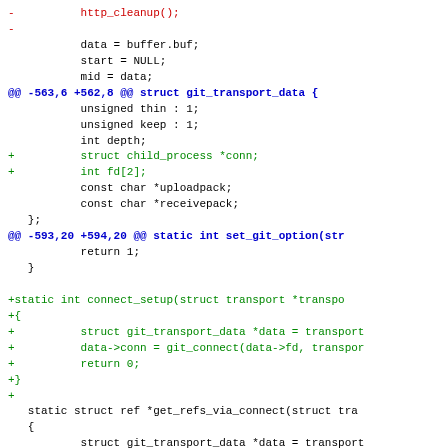Code diff showing modifications to git transport source file, including removal of http_cleanup(), addition of child_process and fd fields, and addition of connect_setup function.